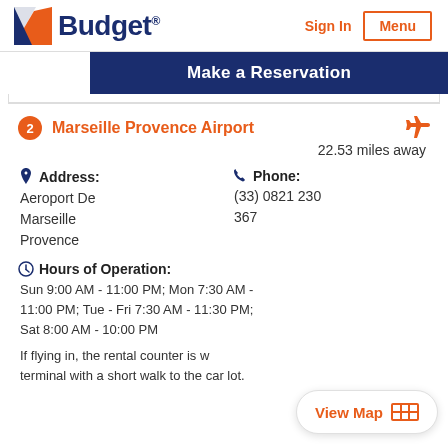Budget® | Sign In | Menu
Make a Reservation
2 Marseille Provence Airport — 22.53 miles away
Address: Aeroport De Marseille Provence
Phone: (33) 0821 230 367
Hours of Operation: Sun 9:00 AM - 11:00 PM; Mon 7:30 AM - 11:00 PM; Tue - Fri 7:30 AM - 11:30 PM; Sat 8:00 AM - 10:00 PM
If flying in, the rental counter is w... terminal with a short walk to the car lot.